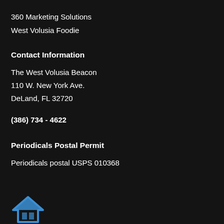360 Marketing Solutions
West Volusia Foodie
Contact Information
The West Volusia Beacon
110 W. New York Ave.
DeLand, FL 32720
(386) 734 - 4622
Periodicals Postal Permit
Periodicals postal USPS 010368
[Figure (logo): Blue house/roof logo icon at bottom left]